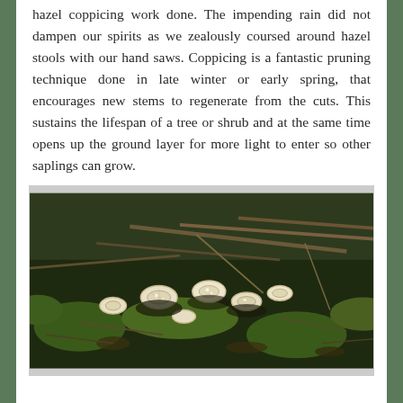hazel coppicing work done. The impending rain did not dampen our spirits as we zealously coursed around hazel stools with our hand saws. Coppicing is a fantastic pruning technique done in late winter or early spring, that encourages new stems to regenerate from the cuts. This sustains the lifespan of a tree or shrub and at the same time opens up the ground layer for more light to enter so other saplings can grow.
[Figure (photo): A photograph showing freshly coppiced hazel stumps on a forest floor covered with moss, leaf litter, and cut branches. The white circular cut surfaces of the hazel stools are visible among the dark woodland ground.]